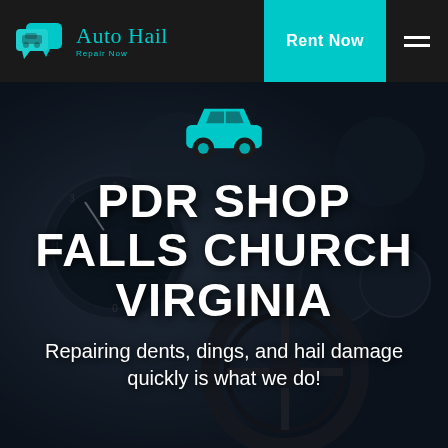Auto Hail Repair Now | Rent Now
[Figure (screenshot): Website screenshot showing a car interior dashboard background with dark overlay. Header bar with Auto Hail Repair Now logo, Rent Now button, and hamburger menu. Teal car icon above large white bold text reading PDR SHOP FALLS CHURCH VIRGINIA. Subtext: Repairing dents, dings, and hail damage quickly is what we do!]
PDR SHOP FALLS CHURCH VIRGINIA
Repairing dents, dings, and hail damage quickly is what we do!